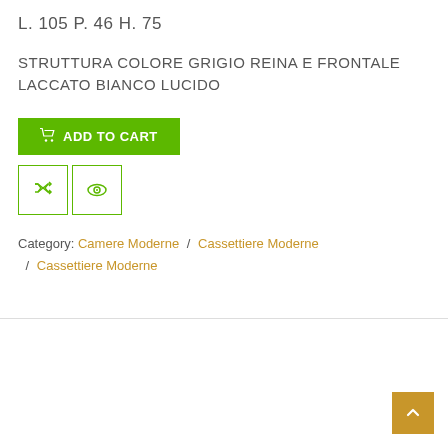L. 105 P. 46 H. 75
STRUTTURA COLORE GRIGIO REINA E FRONTALE LACCATO BIANCO LUCIDO
[Figure (other): Green ADD TO CART button with shopping cart icon, and two icon buttons below (shuffle icon and eye/preview icon), all with green borders]
Category: Camere Moderne / Cassettiere Moderne / Cassettiere Moderne
[Figure (other): Back to top button - gold/amber colored square with upward chevron arrow]